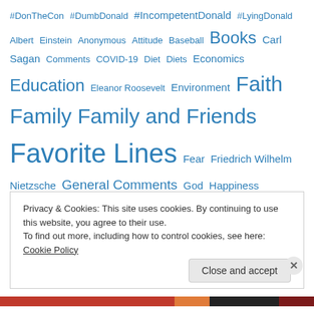#DonTheCon #DumbDonald #IncompetentDonald #LyingDonald Albert Einstein Anonymous Attitude Baseball Books Carl Sagan Comments COVID-19 Diet Diets Economics Education Eleanor Roosevelt Environment Faith Family Family and Friends Favorite Lines Fear Friedrich Wilhelm Nietzsche General Comments God Happiness Health Highly Recommended Movie History Hope Humor Images Included Video John W. Gardner Knowledge Leadership Learning Life Love Lyrics Mark Twain Martin Luther King Jr Movies Music My Journal On Faith On Learning On Life On Politics Oscar Wilde
Privacy & Cookies: This site uses cookies. By continuing to use this website, you agree to their use.
To find out more, including how to control cookies, see here: Cookie Policy
Close and accept